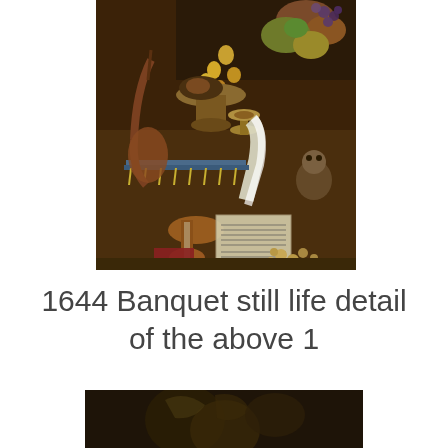[Figure (illustration): Detail of a 1644 Banquet still life painting showing a table with fruits, food, a goblet, musical instruments including a violin, sheet music, and a monkey with nuts in the foreground, rendered in dark Old Master style.]
1644 Banquet still life detail of the above 1
[Figure (illustration): Partial view of another detail from the same 1644 Banquet still life painting, showing a dark background with what appears to be foliage or figures at the bottom of the page.]